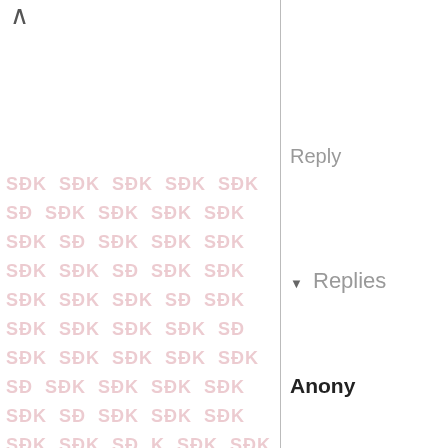[Figure (screenshot): Screenshot of a web page showing two panels: left panel with a pink SDK watermark tiled across a white background with up and down chevron navigation arrows; right panel showing partial text 'Reply', a 'Replies' section header with dropdown triangle, a bold 'Anony' (Anonymous) username, and partial text 'Nice o... Wishin...' in a comment thread]
Reply
Replies
Anony
Nice o
Wishin
[Figure (screenshot): Advertisement banner: Choose the Brand Recommended by Walgreens Pharmacists, with Walgreens W logo and navigation arrow icon]